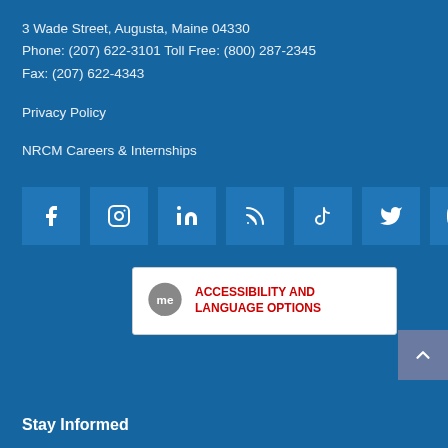3 Wade Street, Augusta, Maine 04330
Phone: (207) 622-3101 Toll Free: (800) 287-2345
Fax: (207) 622-4343
Privacy Policy
NRCM Careers & Internships
[Figure (infographic): Row of 7 social media icon buttons: Facebook, Instagram, LinkedIn, RSS, TikTok, Twitter/X, YouTube]
[Figure (infographic): White badge with Maine 'me' speech bubble logo and red bold text reading ACCESSIBILITY AND LANGUAGE OPTIONS]
Stay Informed